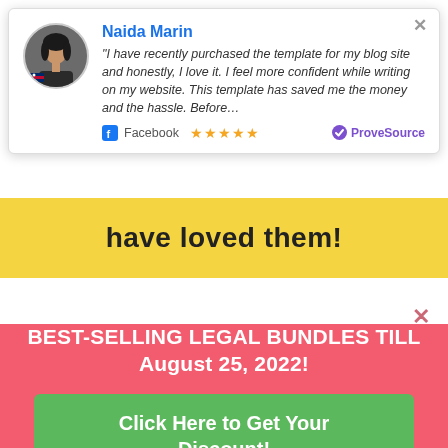[Figure (screenshot): Testimonial popup from Naida Marin with circular avatar photo, name in blue, italic quote text, Facebook logo with stars rating, and ProveSource badge. Close X in top right corner.]
have loved them!
SAVE EXTRA $30 TO $60 OFF ON OUR BEST-SELLING LEGAL BUNDLES TILL August 25, 2022!
Click Here to Get Your Discount!